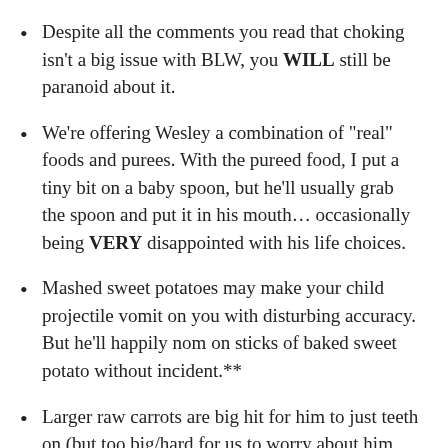Despite all the comments you read that choking isn't a big issue with BLW, you WILL still be paranoid about it.
We're offering Wesley a combination of "real" foods and purees. With the pureed food, I put a tiny bit on a baby spoon, but he'll usually grab the spoon and put it in his mouth… occasionally being VERY disappointed with his life choices.
Mashed sweet potatoes may make your child projectile vomit on you with disturbing accuracy. But he'll happily nom on sticks of baked sweet potato without incident.**
Larger raw carrots are big hit for him to just teeth on (but too big/hard for us to worry about him